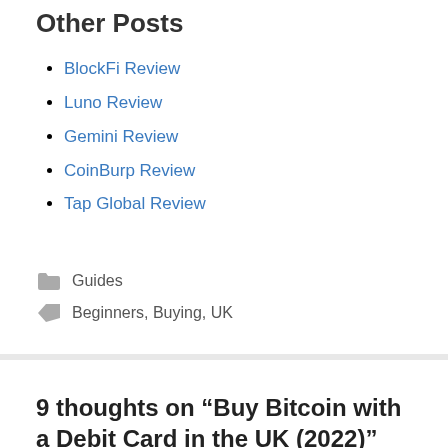Other Posts
BlockFi Review
Luno Review
Gemini Review
CoinBurp Review
Tap Global Review
Guides
Beginners, Buying, UK
9 thoughts on “Buy Bitcoin with a Debit Card in the UK (2022)”